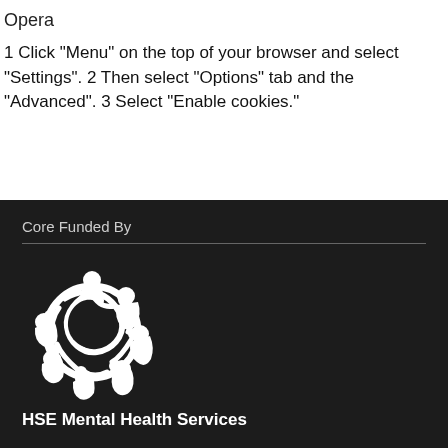Opera
1 Click "Menu" on the top of your browser and select "Settings". 2 Then select "Options" tab and the "Advanced". 3 Select "Enable cookies."
Core Funded By
[Figure (logo): HSE Mental Health Services logo - circular interlocking figures in white on dark background]
HSE Mental Health Services